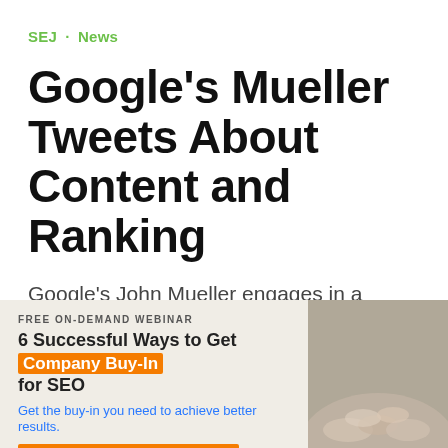SEJ · News
Google's Mueller Tweets About Content and Ranking
Google's John Mueller engages in a Twitter discussion on the best way to write content.
SEJ STAFF
Roger Montti
201  9.0K
[Figure (other): Advertisement banner: FREE ON-DEMAND WEBINAR - 6 Successful Ways to Get Company Buy-In for SEO. Get the buy-in you need to achieve better results. CLICK TO WATCH THE WEBINAR. Bruce Clay logo. Image of hands joined together.]